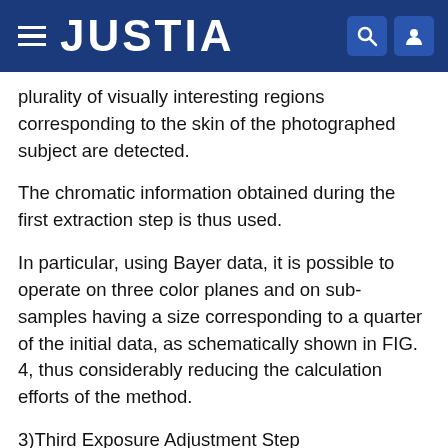JUSTIA
plurality of visually interesting regions corresponding to the skin of the photographed subject are detected.
The chromatic information obtained during the first extraction step is thus used.
In particular, using Bayer data, it is possible to operate on three color planes and on sub-samples having a size corresponding to a quarter of the initial data, as schematically shown in FIG. 4, thus considerably reducing the calculation efforts of the method.
3)Third Exposure Adjustment Step
This adjustment can be performed in two ways:
1. correction of images in the RGB format;
2. correction of images in the Bayer Pattern format